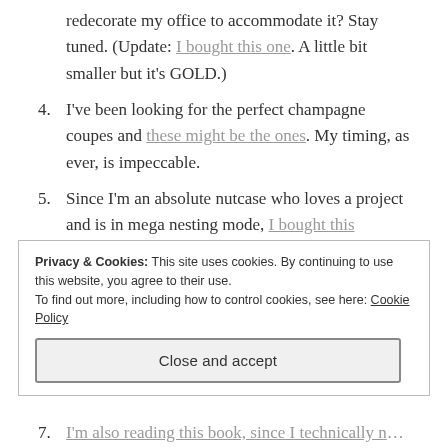redecorate my office to accommodate it? Stay tuned. (Update: I bought this one. A little bit smaller but it's GOLD.)
4. I've been looking for the perfect champagne coupes and these might be the ones. My timing, as ever, is impeccable.
5. Since I'm an absolute nutcase who loves a project and is in mega nesting mode, I bought this sideboard for my office. I'm completely redecorating the space (I literally drew plans up, despite my complete lack of artistic ability), and I want it to have a mid-century lounge feel. Since
Privacy & Cookies: This site uses cookies. By continuing to use this website, you agree to their use.
To find out more, including how to control cookies, see here: Cookie Policy
Close and accept
7. I'm also reading this book, since I technically need...